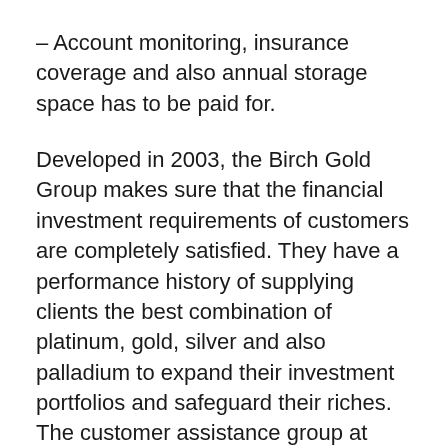– Account monitoring, insurance coverage and also annual storage space has to be paid for.
Developed in 2003, the Birch Gold Group makes sure that the financial investment requirements of customers are completely satisfied. They have a performance history of supplying clients the best combination of platinum, gold, silver and also palladium to expand their investment portfolios and safeguard their riches. The customer assistance group at Birch Gold is highly trained, with an expert understanding of the products on offer. All consumers are directed though every phase of the procedure.